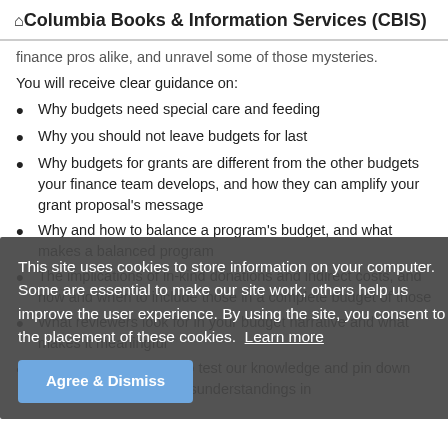Columbia Books & Information Services (CBIS)
finance pros alike, and unravel some of those mysteries.
You will receive clear guidance on:
Why budgets need special care and feeding
Why you should not leave budgets for last
Why budgets for grants are different from the other budgets your finance team develops, and how they can amplify your grant proposal's message
Why and how to balance a program's budget, and what makes a balanced program
The implications of in-kind donations and indirect costs, and how and when to include those in a complete budget of those
What reviewers look for in your budget narrative and what makes it meaningful
A multiple-choice quiz to test our knowledge and pin down some other common misunderstandings in
This site uses cookies to store information on your computer. Some are essential to make our site work; others help us improve the user experience. By using the site, you consent to the placement of these cookies. Learn more
Agree & Dismiss